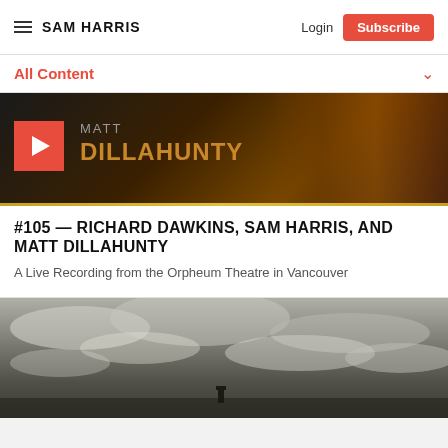SAM HARRIS — Login — Subscribe
All Content
[Figure (screenshot): Video thumbnail for Matt Dillahunty episode with play button and gold text DILLAHUNTY on dark background]
#105 — RICHARD DAWKINS, SAM HARRIS, AND MATT DILLAHUNTY
A Live Recording from the Orpheum Theatre in Vancouver
[Figure (photo): Black and white photograph of a dramatic cloudy sky with landscape at bottom]